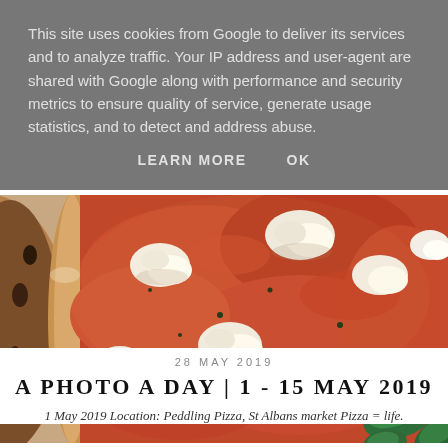This site uses cookies from Google to deliver its services and to analyze traffic. Your IP address and user-agent are shared with Google along with performance and security metrics to ensure quality of service, generate usage statistics, and to detect and address abuse.
LEARN MORE    OK
[Figure (photo): Close-up photograph of a Neapolitan-style pizza with red tomato sauce, white mozzarella cheese pieces, and green basil leaves on a charred crust, shot from above.]
28 MAY 2019
A PHOTO A DAY | 1 - 15 MAY 2019
1 May 2019 Location: Peddling Pizza, St Albans market Pizza = life.